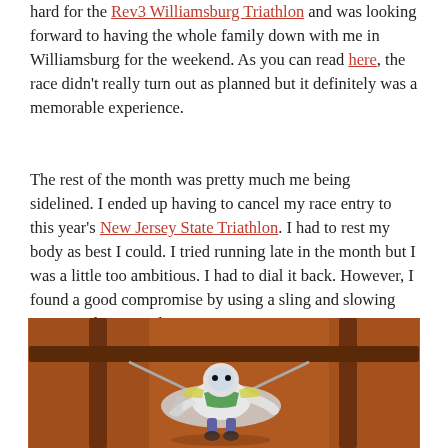hard for the Rev3 Williamsburg Triathlon and was looking forward to having the whole family down with me in Williamsburg for the weekend. As you can read here, the race didn't really turn out as planned but it definitely was a memorable experience.
The rest of the month was pretty much me being sidelined. I ended up having to cancel my race entry to this year's New Jersey State Triathlon. I had to rest my body as best I could. I tried running late in the month but I was a little too ambitious. I had to dial it back. However, I found a good compromise by using a sling and slowing my pace down….a lot!!!
[Figure (photo): Photo of a Buzz Lightyear toy figure lying in a sling/hammock-like position on what appears to be a brown/orange surface with wooden or metal bars visible]